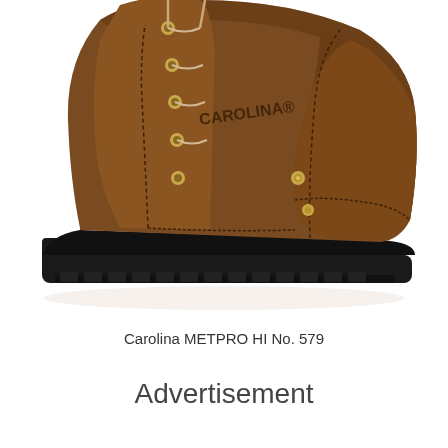[Figure (photo): A brown leather Carolina work boot (METPRO HI No. 579) with black rubber sole, gold eyelets and rivets, and lace-up design, photographed from the side on a white background.]
Carolina METPRO HI No. 579
Advertisement